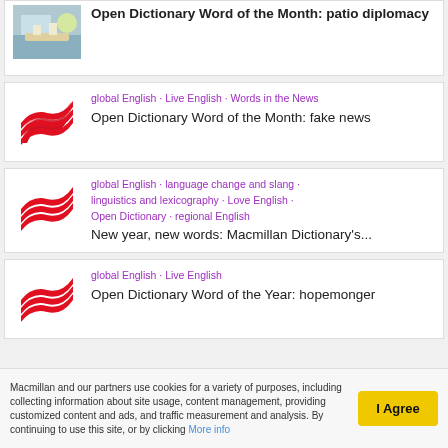[Figure (photo): Photo of people at an outdoor table by a pool, partially cropped at top]
Open Dictionary Word of the Month: patio diplomacy
[Figure (logo): Macmillan Dictionary red wave logo]
global English • Live English • Words in the News
Open Dictionary Word of the Month: fake news
[Figure (logo): Macmillan Dictionary red wave logo]
global English • language change and slang • linguistics and lexicography • Love English • Open Dictionary • regional English
New year, new words: Macmillan Dictionary's...
[Figure (logo): Macmillan Dictionary red wave logo]
global English • Live English
Open Dictionary Word of the Year: hopemonger
Macmillan and our partners use cookies for a variety of purposes, including collecting information about site usage, content management, providing customized content and ads, and traffic measurement and analysis. By continuing to use this site, or by clicking More info